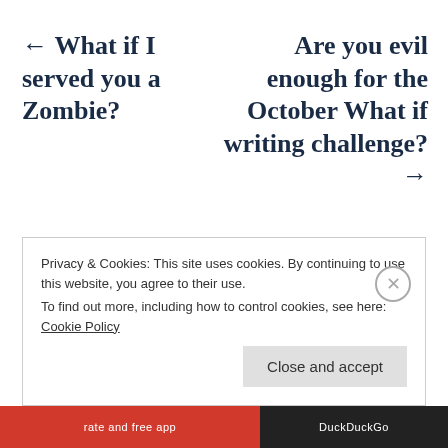← What if I served you a Zombie?
Are you evil enough for the October What if writing challenge? →
Privacy & Cookies: This site uses cookies. By continuing to use this website, you agree to their use.
To find out more, including how to control cookies, see here: Cookie Policy
Close and accept